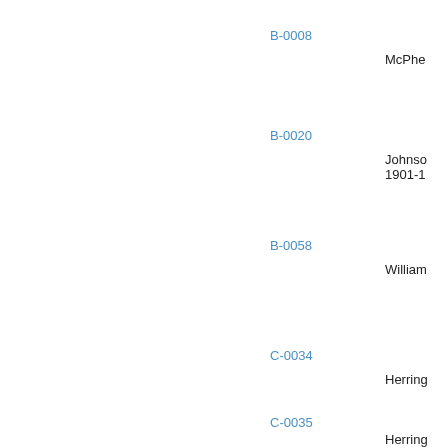B-0008
McPhe
B-0020
Johnson 1901-1
B-0058
William
C-0034
Herring
C-0035
Herring